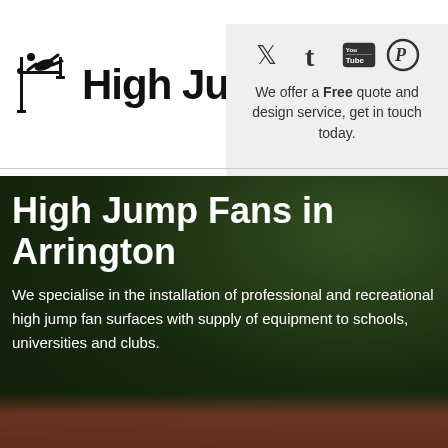High Jump
[Figure (logo): High jump athlete silhouette icon with vertical bar]
[Figure (infographic): Social media icons: Twitter, Tumblr, YouTube, Pinterest]
We offer a Free quote and design service, get in touch today.
High Jump Fans in Arrington
We specialise in the installation of professional and recreational high jump fan surfaces with supply of equipment to schools, universities and clubs.
[Figure (photo): Outdoor sports facility with trees and red athletic track surface visible at bottom]